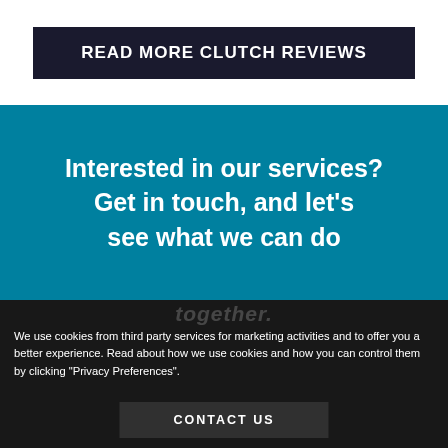READ MORE CLUTCH REVIEWS
Interested in our services?
Get in touch, and let's see what we can do together.
We use cookies from third party services for marketing activities and to offer you a better experience. Read about how we use cookies and how you can control them by clicking "Privacy Preferences".
CONTACT US
Privacy Preferences
I Agree